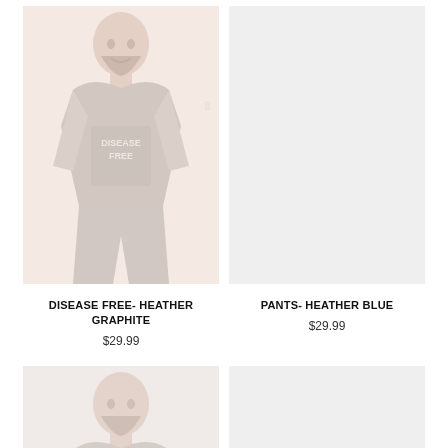[Figure (photo): Product photo of a man wearing a heather graphite t-shirt with 'Disease Free' text graphic, faded/light appearance]
DISEASE FREE- HEATHER GRAPHITE
$29.99
[Figure (photo): Product photo placeholder for pants in heather blue, light gray background]
PANTS- HEATHER BLUE
$29.99
[Figure (photo): Partial product photo of a man wearing a t-shirt, same style as above, partially visible at bottom of page]
[Figure (photo): Partial product photo placeholder, light gray, partially visible at bottom of page]